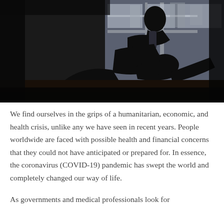[Figure (photo): A person sitting on the floor in a dark room, hunched over with head bowed, silhouetted against a window with daylight behind them, suggesting distress or depression.]
We find ourselves in the grips of a humanitarian, economic, and health crisis, unlike any we have seen in recent years. People worldwide are faced with possible health and financial concerns that they could not have anticipated or prepared for. In essence, the coronavirus (COVID-19) pandemic has swept the world and completely changed our way of life.
As governments and medical professionals look for